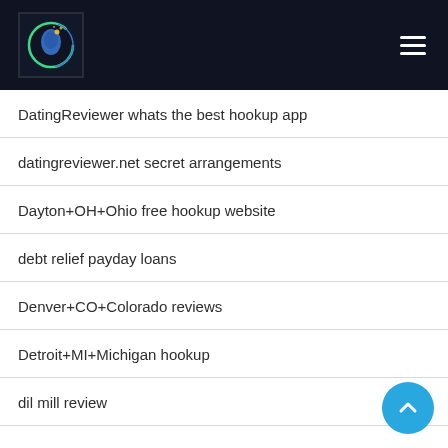Navigation header with logo and hamburger menu
DatingReviewer whats the best hookup app
datingreviewer.net secret arrangements
Dayton+OH+Ohio free hookup website
debt relief payday loans
Denver+CO+Colorado reviews
Detroit+MI+Michigan hookup
dil mill review